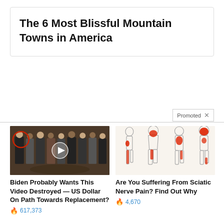The 6 Most Blissful Mountain Towns in America
Promoted X
[Figure (photo): Group of people standing in a formal setting with a red circle highlight and a play button overlay in the center]
Biden Probably Wants This Video Destroyed — US Dollar On Path Towards Replacement?
🔥 617,373
[Figure (illustration): Medical illustration showing four body silhouettes with red highlighted areas depicting sciatic nerve pain pathways]
Are You Suffering From Sciatic Nerve Pain? Find Out Why
🔥 4,670